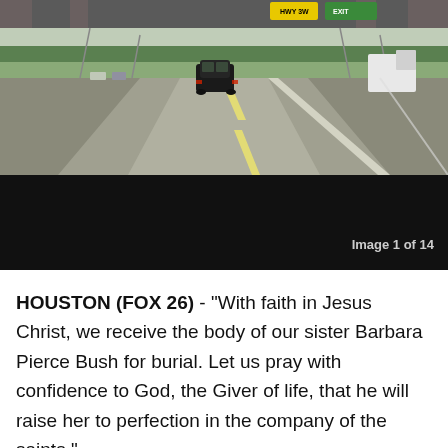[Figure (photo): Photograph taken from inside a vehicle on a flat, straight highway. A dark SUV is visible ahead in the left lane. The road has dashed center lines and a white right-side line. Green flat terrain and trees line the horizon. An overpass bridge with yellow and green highway signs is visible overhead. White truck on the far right. Several other vehicles visible in distance. The lower half of the image is black (dark overlay). Text 'Image 1 of 14' appears in the lower-right of the dark area.]
HOUSTON (FOX 26) - "With faith in Jesus Christ, we receive the body of our sister Barbara Pierce Bush for burial. Let us pray with confidence to God, the Giver of life, that he will raise her to perfection in the company of the saints."